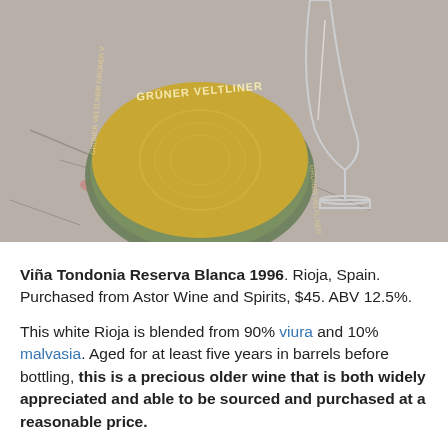[Figure (photo): Photo of the bottom of a Grüner Veltliner wine bottle with a yellow label showing 'GRÜNER VELTLINER' text, placed on a granite countertop next to a clear wine glass.]
Viña Tondonia Reserva Blanca 1996. Rioja, Spain. Purchased from Astor Wine and Spirits, $45. ABV 12.5%.
This white Rioja is blended from 90% viura and 10% malvasia. Aged for at least five years in barrels before bottling, this is a precious older wine that is both widely appreciated and able to be sourced and purchased at a reasonable price.